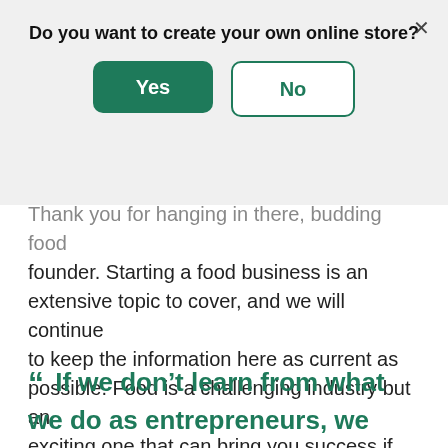Do you want to create your own online store?
Yes
No
Thank you for hanging in there, budding food founder. Starting a food business is an extensive topic to cover, and we will continue to keep the information here as current as possible. Food is a challenging industry but an exciting one that can bring you success if you're passionate and willing to wade through the legalese.
“ If we don't learn from what we do as entrepreneurs, we